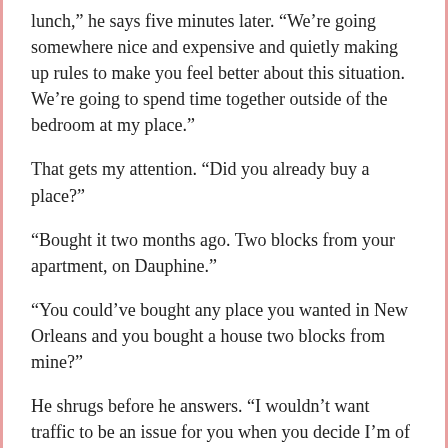lunch,” he says five minutes later. “We’re going somewhere nice and expensive and quietly making up rules to make you feel better about this situation. We’re going to spend time together outside of the bedroom at my place.”
That gets my attention. “Did you already buy a place?”
“Bought it two months ago. Two blocks from your apartment, on Dauphine.”
“You could’ve bought any place you wanted in New Orleans and you bought a house two blocks from mine?”
He shrugs before he answers. “I wouldn’t want traffic to be an issue for you when you decide I’m of use.” He’s pouting, so I let him stew over there in his misery for a little while, and a little while ends up being over thirty minutes away in the heart of the French Quarter at a fancy French restaurant named Bourdon’s. At least that’s where I think we’re headed, but instead, he pulls